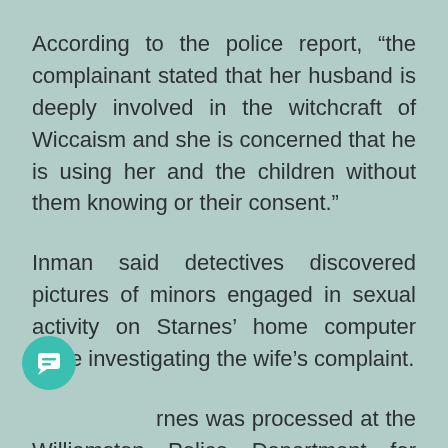According to the police report, “the complainant stated that her husband is deeply involved in the witchcraft of Wiccaism and she is concerned that he is using her and the children without them knowing or their consent.”
Inman said detectives discovered pictures of minors engaged in sexual activity on Starnes’ home computer while investigating the wife’s complaint.
Starnes was processed at the Williamston Police Department for receiving a $25,000...